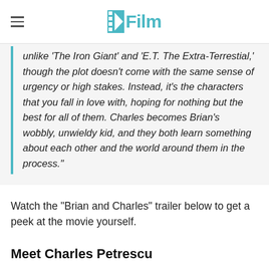/Film
unlike 'The Iron Giant' and 'E.T. The Extra-Terrestial,' though the plot doesn't come with the same sense of urgency or high stakes. Instead, it's the characters that you fall in love with, hoping for nothing but the best for all of them. Charles becomes Brian's wobbly, unwieldy kid, and they both learn something about each other and the world around them in the process."
Watch the "Brian and Charles" trailer below to get a peek at the movie yourself.
Meet Charles Petrescu